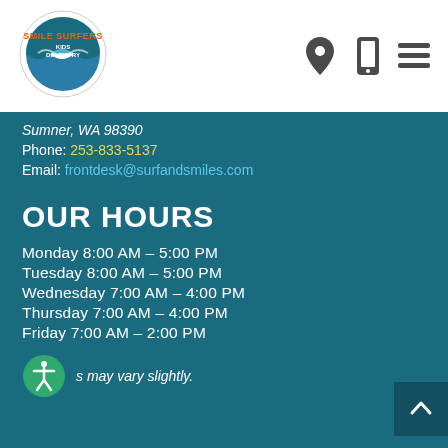[Figure (logo): Smile Surfers Kids Dentistry circular logo with wave graphic]
[Figure (infographic): Header icons: location pin, phone, and hamburger menu icons]
Sumner, WA 98390
Phone: 253-833-5137
Email: frontdesk@surfandsmiles.com
OUR HOURS
Monday 8:00 AM – 5:00 PM
Tuesday 8:00 AM – 5:00 PM
Wednesday 7:00 AM – 4:00 PM
Thursday 7:00 AM – 4:00 PM
Friday 7:00 AM – 2:00 PM
s may vary slightly.